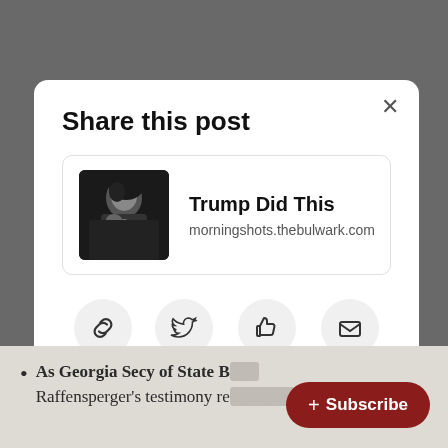Share this post
[Figure (screenshot): Post preview card showing a black and white photo thumbnail, bold title 'Trump Did This', and URL 'morningshots.thebulwark.com']
[Figure (infographic): Four share buttons in a row: Copy link (chain link icon), Twitter (bird icon), Facebook (thumbs up icon), Email (envelope icon)]
As Georgia Secy of State Brad Raffensperger's testimony re...